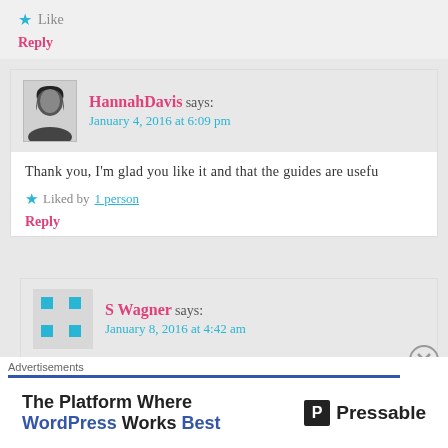★ Like
Reply
HannahDavis says: January 4, 2016 at 6:09 pm
Thank you, I'm glad you like it and that the guides are usefu
★ Liked by 1 person
Reply
S Wagner says: January 8, 2016 at 4:42 am
Hello from Germany. Found your pattern and will make it in b Thank you for your great idea
Advertisements
The Platform Where WordPress Works Best — Pressable